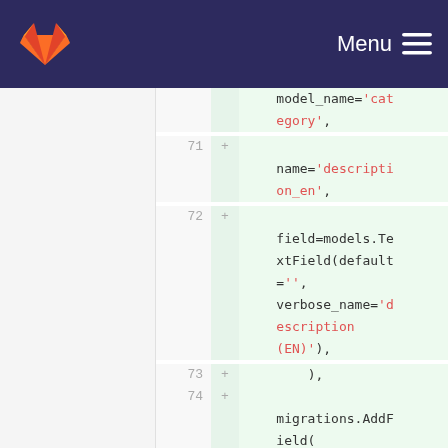GitLab Menu
[Figure (screenshot): Code diff view showing Django migration code with line numbers 71-76, additions marked with '+', highlighted green background. Code includes model_name='category', name='description_en', field=models.TextField(default='', verbose_name='description (EN)'), ), migrations.AddField(, model_name='category',]
model_name='category',
name='description_en',
field=models.TextField(default='',
verbose_name='description (EN)'),
        ),
migrations.AddField(
model_name='category',